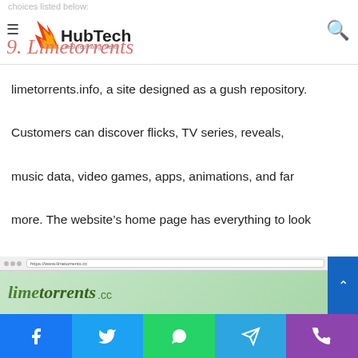HubTech — Latest Technology News
9. Limetorrents
limetorrents.info, a site designed as a gush repository. Customers can discover flicks, TV series, reveals, music data, video games, apps, animations, and far more. The website's home page has everything to look for by a customer. Additionally, the site also has a blog site.
[Figure (screenshot): Screenshot of limetorrents.cc website showing browser bar and green logo]
Social share buttons: Facebook, Twitter, WhatsApp, Telegram, Phone